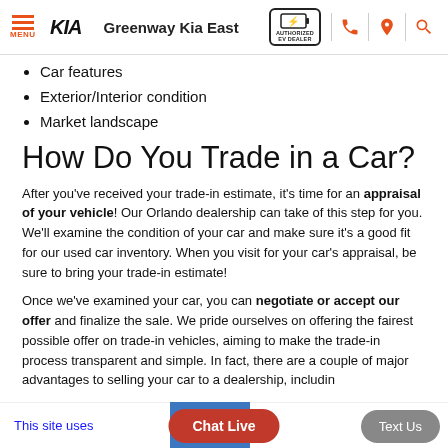Greenway Kia East — Navigation header with menu, logo, dealer name, EV badge, phone, location, search icons
Car features
Exterior/Interior condition
Market landscape
How Do You Trade in a Car?
After you've received your trade-in estimate, it's time for an appraisal of your vehicle! Our Orlando dealership can take of this step for you. We'll examine the condition of your car and make sure it's a good fit for our used car inventory. When you visit for your car's appraisal, be sure to bring your trade-in estimate!
Once we've examined your car, you can negotiate or accept our offer and finalize the sale. We pride ourselves on offering the fairest possible offer on trade-in vehicles, aiming to make the trade-in process transparent and simple. In fact, there are a couple of major advantages to selling your car to a dealership, includin
This site uses  [cookie notice]  Chat Live  Text Us